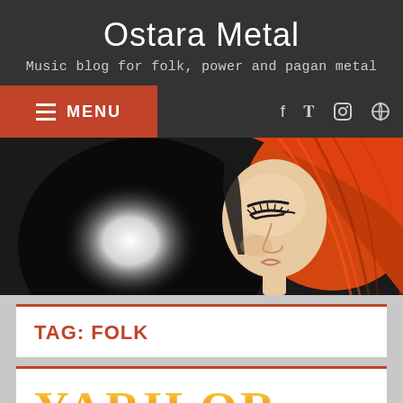Ostara Metal
Music blog for folk, power and pagan metal
MENU
[Figure (illustration): Illustrated portrait of a woman with bright orange/red hair, looking upward, with dramatic eye makeup, on a dark background with a glowing orb]
TAG: FOLK
YARILOR